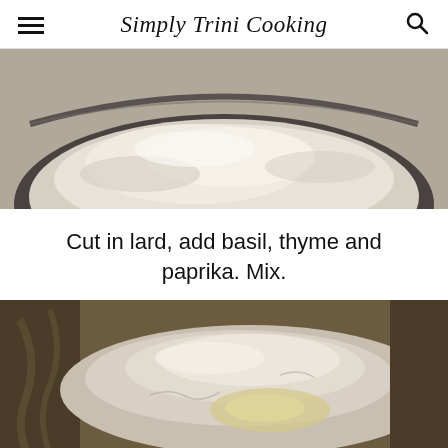Simply Trini Cooking
[Figure (photo): Bowl of flour mixture viewed from above, showing dry flour in a stainless steel bowl]
Cut in lard, add basil, thyme and paprika. Mix.
[Figure (photo): Close-up of flour mixture in a bowl with lard being cut in, showing the crumbly texture. Watermark: © http://www.simplytrinicooking.com]